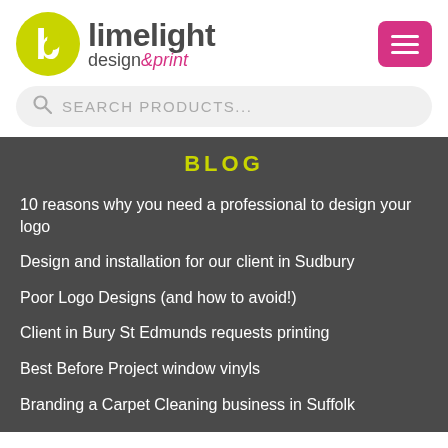[Figure (logo): Limelight Design & Print logo with lime green circular icon and text]
SEARCH PRODUCTS...
BLOG
10 reasons why you need a professional to design your logo
Design and installation for our client in Sudbury
Poor Logo Designs (and how to avoid!)
Client in Bury St Edmunds requests printing
Best Before Project window vinyls
Branding a Carpet Cleaning business in Suffolk